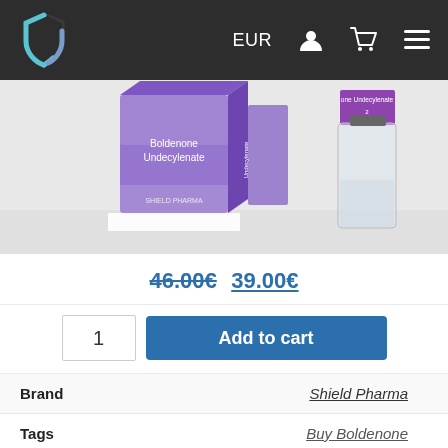EUR
[Figure (photo): Product photo showing Boldenone Undecylenate boxes (purple/violet packaging) and a glass vial on a light background]
46.00€ 39.00€
1  Add to cart
Brand   Shield Pharma
Tags   Buy Boldenone
Dosage: 500mg to 1000mg each week.